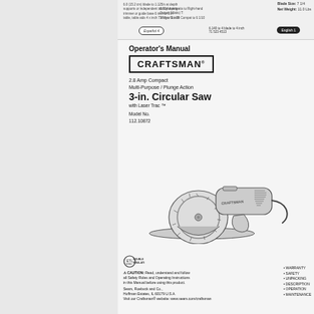Operator's Manual - Craftsman 2.8 Amp Compact Multi-Purpose/Plunge Action 3-in. Circular Saw with Laser Trac TM, Model No. 112.10872. Blade Size: 7 1/4, Net Weight: 11.0 Lbs. Español 4, English 1.
Operator's Manual
[Figure (logo): CRAFTSMAN brand logo in bold uppercase letters inside a rectangular border]
2.8 Amp Compact Multi-Purpose / Plunge Action
3-in. Circular Saw
with Laser Trac ™
Model No.
112.10872
[Figure (illustration): Illustration of a Craftsman 3-inch compact circular saw with laser trac, showing the tool from a three-quarter angle view with visible blade guard, circular blade, and cord]
[Figure (logo): ETL Double Insulated certification logo]
⚠ CAUTION: Read, understand and follow all Safety Rules and Operating Instructions in this Manual before using this product.
Sears, Roebuck and Co., Hoffman Estates, IL 60179 U.S.A. Visit our Craftsman® website: www.sears.com/craftsman
• WARRANTY
• SAFETY
• UNPACKING
• DESCRIPTION
• OPERATION
• MAINTENANCE